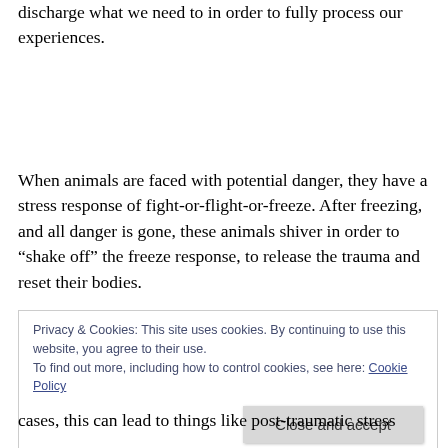discharge what we need to in order to fully process our experiences.
When animals are faced with potential danger, they have a stress response of fight-or-flight-or-freeze. After freezing, and all danger is gone, these animals shiver in order to “shake off” the freeze response, to release the trauma and reset their bodies.
Privacy & Cookies: This site uses cookies. By continuing to use this website, you agree to their use.
To find out more, including how to control cookies, see here: Cookie Policy
cases, this can lead to things like post-traumatic stress